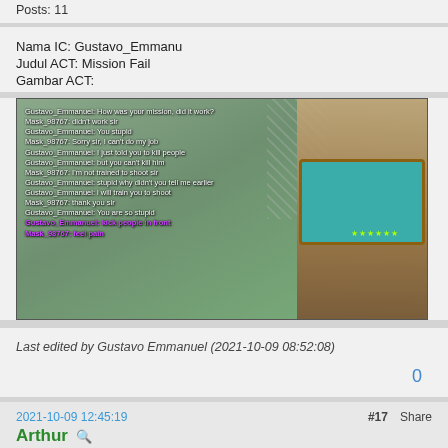Posts: 11
Nama IC: Gustavo_Emmanu
Judul ACT: Mission Fail
Gambar ACT:
[Figure (screenshot): Screenshot from a GTA-style game showing two characters, one kicking another on a wooden deck near a pool table with chain-link fence in background. Chat overlay shows conversation between Gustavo_Emmanuel and Mask_98767 about a mission failure.]
Last edited by Gustavo Emmanuel (2021-10-09 08:52:08)
0
2021-10-09 12:45:19
#17  Share
Arthur
Posts: 7